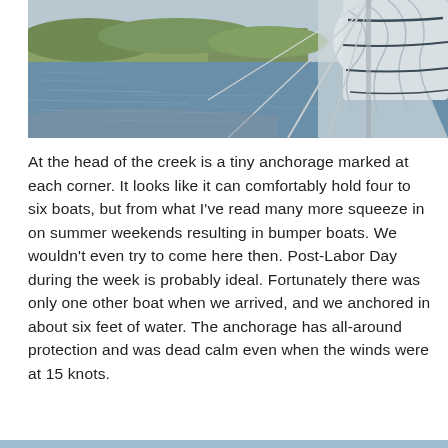[Figure (photo): Photograph taken from the bow of a sailboat with white furled sails visible on the right, looking out over a calm blue-gray waterway with green marshy banks in the background.]
At the head of the creek is a tiny anchorage marked at each corner. It looks like it can comfortably hold four to six boats, but from what I've read many more squeeze in on summer weekends resulting in bumper boats. We wouldn't even try to come here then. Post-Labor Day during the week is probably ideal. Fortunately there was only one other boat when we arrived, and we anchored in about six feet of water. The anchorage has all-around protection and was dead calm even when the winds were at 15 knots.